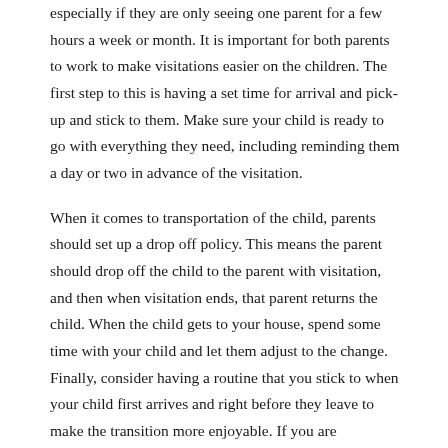especially if they are only seeing one parent for a few hours a week or month. It is important for both parents to work to make visitations easier on the children. The first step to this is having a set time for arrival and pick-up and stick to them. Make sure your child is ready to go with everything they need, including reminding them a day or two in advance of the visitation.
When it comes to transportation of the child, parents should set up a drop off policy. This means the parent should drop off the child to the parent with visitation, and then when visitation ends, that parent returns the child. When the child gets to your house, spend some time with your child and let them adjust to the change. Finally, consider having a routine that you stick to when your child first arrives and right before they leave to make the transition more enjoyable. If you are struggling with a child that does not want to visit the other parent, it is important that you find the route cause to the refusal. After discovering the cause, work patiently with your child and the other parent to help your child